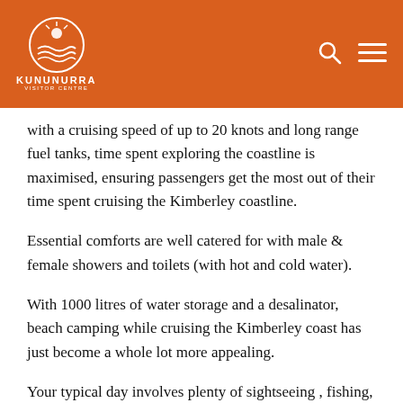Kununurra Visitor Centre
with a cruising speed of up to 20 knots and long range fuel tanks, time spent exploring the coastline is maximised, ensuring passengers get the most out of their time spent cruising the Kimberley coastline.
Essential comforts are well catered for with male & female showers and toilets (with hot and cold water).
With 1000 litres of water storage and a desalinator, beach camping while cruising the Kimberley coast has just become a whole lot more appealing.
Your typical day involves plenty of sightseeing , fishing, crabbing, swimming and then enjoying the tranquility of an open campfire as you bed down for the night on an isolated beach.